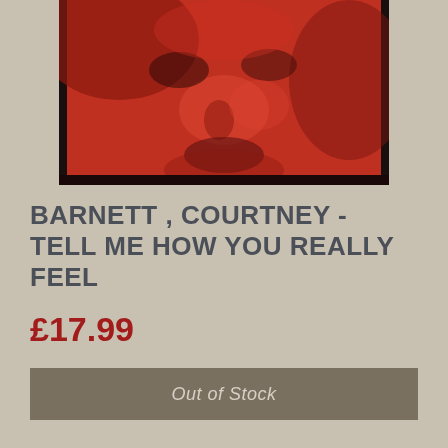[Figure (photo): Album cover for Courtney Barnett - Tell Me How You Really Feel. Close-up of a human face with strong red/orange tones against a dark background.]
BARNETT , COURTNEY - TELL ME HOW YOU REALLY FEEL
£17.99
Out of Stock